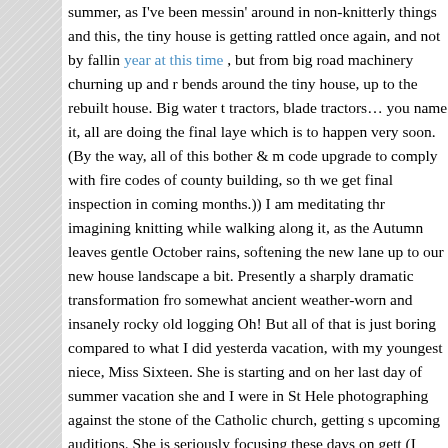summer, as I've been messin' around in non-knitterly things and this, the tiny house is getting rattled once again, and not by fallin year at this time , but from big road machinery churning up and r bends around the tiny house, up to the rebuilt house. Big water t tractors, blade tractors… you name it, all are doing the final laye which is to happen very soon. (By the way, all of this bother & m code upgrade to comply with fire codes of county building, so th we get final inspection in coming months.))  I am meditating thr imagining knitting while walking along it, as the Autumn leaves gentle October rains, softening the new lane up to our new house landscape a bit.   Presently a sharply dramatic transformation fro somewhat ancient weather-worn and insanely rocky old logging Oh! But all of that is just boring compared to what I did yesterda vacation, with my youngest niece, Miss Sixteen.  She is starting and on her last day of summer vacation she and I were in St Hele photographing against the stone of the Catholic church, getting s upcoming auditions.  She is seriously focusing these days on gett (I think I did mention somewhere a few posts back, that she play in summer production of West Side Story for a theater group in S